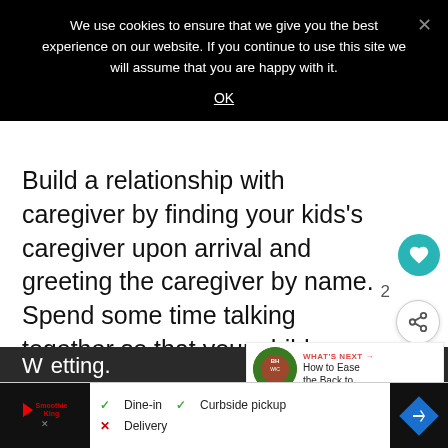We use cookies to ensure that we give you the best experience on our website. If you continue to use this site we will assume that you are happy with it.
OK
Build a relationship with caregiver by finding your kids's caregiver upon arrival and greeting the caregiver by name. Spend some time talking together so that your child can s the two of you are in good terms. If time permits, it can be a great idea for all of you to begin an activity together.
[Figure (screenshot): Cookie consent popup with OK link and close X button on black background]
[Figure (infographic): Social sharing UI: heart/like button in teal, count badge showing 2, share button, and What's Next widget with thumbnail and text 'How to Ease the Back to...']
[Figure (screenshot): Bottom advertisement bar for Smoothie King showing Dine-in checkmark, Curbside pickup checkmark, Delivery X, and navigation arrow icon]